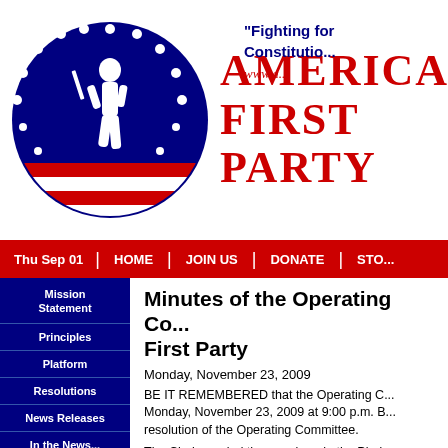[Figure (logo): America First Party circular logo with blue background, soldier silhouette, stars, and red/white stripes at bottom]
America First Party
"Fighting for the Constitution" www.a...
Thu Sep 01 | HOME | JOIN US | DONATE | STO...
Mission Statement
Principles
Platform
Resolutions
News Releases
In the News...
Outreach Publications
State Parties
Minutes of the Operating Co... First Party
Monday, November 23, 2009
BE IT REMEMBERED that the Operating C... Monday, November 23, 2009 at 9:00 p.m. B... resolution of the Operating Committee.
The Chairman led the members in the Pled... invocation.
The Secretary called the roll of Operating C...
Present:
Jon Hill of Massachusetts, Chairman...